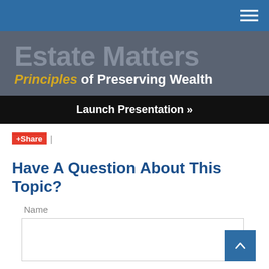Estate Matters Principles of Preserving Wealth
Launch Presentation »
Share |
Have A Question About This Topic?
Name